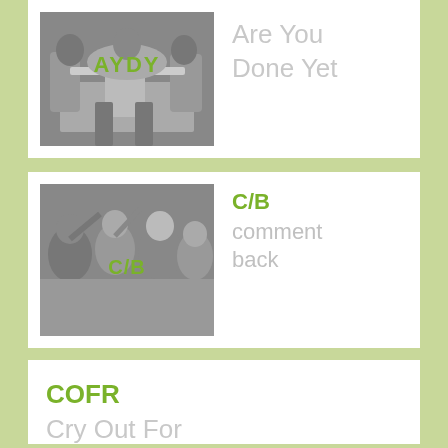[Figure (photo): Black and white photo of people seated at a dinner table, with green text 'AYDY' overlaid]
AYDY
Are You Done Yet
[Figure (photo): Black and white photo of a group of people socializing/dancing, with green text 'C/B' overlaid]
C/B
comment back
COFR
Cry Out For